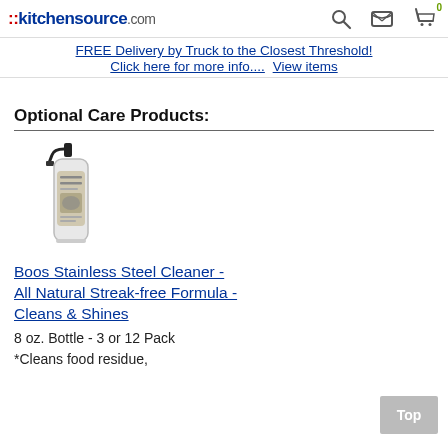::kitchensource.com
FREE Delivery by Truck to the Closest Threshold!
Click here for more info.... View items
Optional Care Products:
[Figure (photo): Spray bottle of Boos Stainless Steel Cleaner]
Boos Stainless Steel Cleaner - All Natural Streak-free Formula - Cleans & Shines
8 oz. Bottle - 3 or 12 Pack
*Cleans food residue,